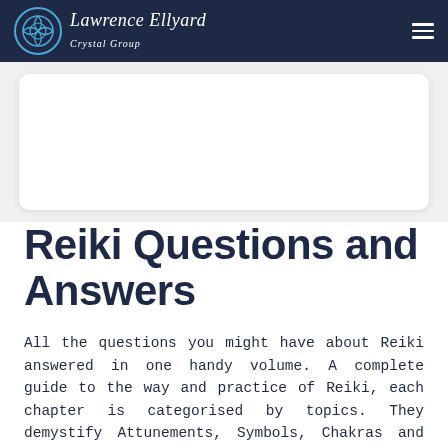Lawrence Ellyard
[Figure (other): White card/rectangle on grey background, likely a book cover image placeholder]
Reiki Questions and Answers
All the questions you might have about Reiki answered in one handy volume. A complete guide to the way and practice of Reiki, each chapter is categorised by topics. They demystify Attunements, Symbols, Chakras and Distant Healing, with a chapter devoted to each.